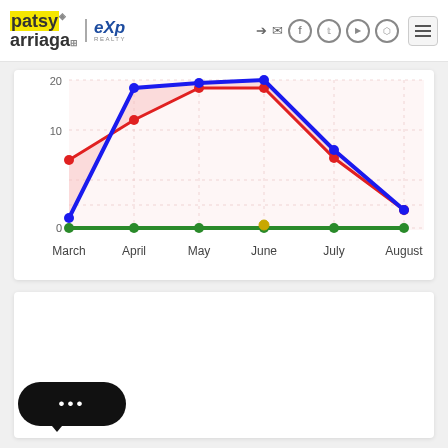[Figure (screenshot): Website header with Patsy Arriaga / eXp Realty logo on the left, social media icons (login, email, Facebook, Twitter, YouTube, Instagram) on the right, and a hamburger menu button]
[Figure (line-chart): Real Estate Market Trends]